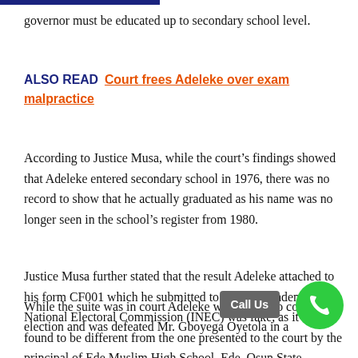governor must be educated up to secondary school level.
ALSO READ  Court frees Adeleke over exam malpractice
According to Justice Musa, while the court’s findings showed that Adeleke entered secondary school in 1976, there was no record to show that he actually graduated as his name was no longer seen in the school’s register from 1980.
Justice Musa further stated that the result Adeleke attached to his form CF001 which he submitted to the Independent National Electoral Commission (INEC) was fake, as it was found to be different from the one presented to the court by the principal of Ede Muslim High School, Ede, Osun State.
While the suite was in court Adeleke went ahead to conte… election and was defeated Mr. Gboyega Oyetola in a…